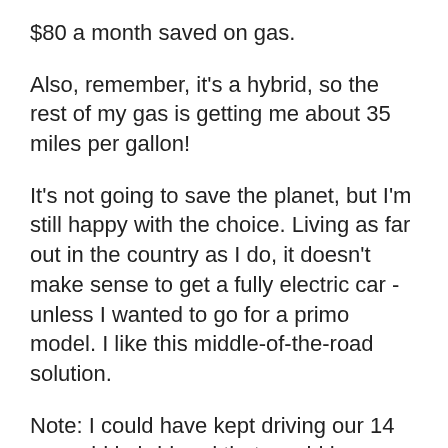$80 a month saved on gas.
Also, remember, it's a hybrid, so the rest of my gas is getting me about 35 miles per gallon!
It's not going to save the planet, but I'm still happy with the choice. Living as far out in the country as I do, it doesn't make sense to get a fully electric car - unless I wanted to go for a primo model. I like this middle-of-the-road solution.
Note: I could have kept driving our 14 year old hybrid and that would have been EVEN better. No excuses or rationalization. There was a certain amount of curiosity about